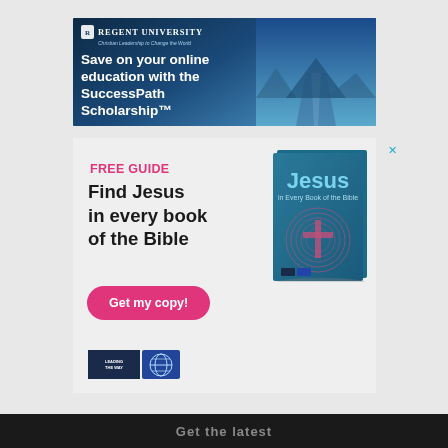[Figure (illustration): Regent University advertisement banner with dark blue sky/road background. Shows logo, tagline 'Save on your online education with the SuccessPath Scholarship™' and green 'Learn more' button.]
[Figure (illustration): Leading The Way book advertisement. Pink 'FREE GUIDE' label, 'Find Jesus in every book of the Bible' text, pink pill-shaped 'Get my copy!' button, book cover showing 'Jesus in Every Book of the Bible' with teal cover, and two logos at bottom.]
×
FREE GUIDE
Find Jesus in every book of the Bible
Get my copy!